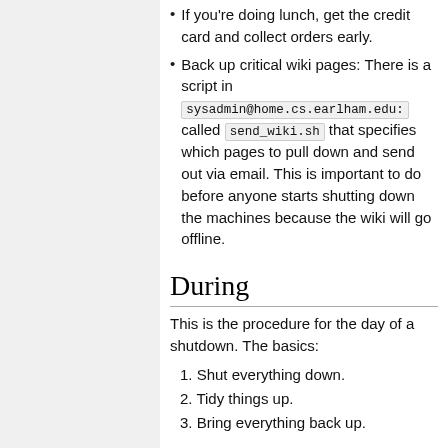If you're doing lunch, get the credit card and collect orders early.
Back up critical wiki pages: There is a script in sysadmin@home.cs.earlham.edu: called send_wiki.sh that specifies which pages to pull down and send out via email. This is important to do before anyone starts shutting down the machines because the wiki will go offline.
During
This is the procedure for the day of a shutdown. The basics:
1. Shut everything down.
2. Tidy things up.
3. Bring everything back up.